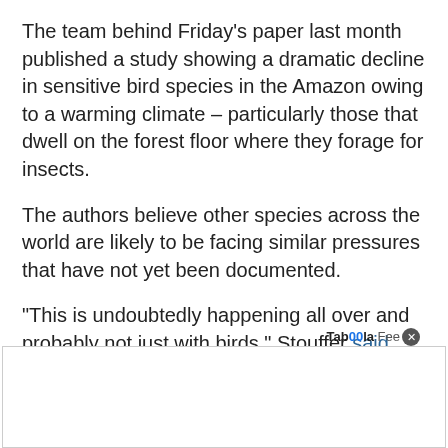The team behind Friday's paper last month published a study showing a dramatic decline in sensitive bird species in the Amazon owing to a warming climate – particularly those that dwell on the forest floor where they forage for insects.
The authors believe other species across the world are likely to be facing similar pressures that have not yet been documented.
"This is undoubtedly happening all over and probably not just with birds," Stouffer said.
© Agence France-Presse
Taboola Feed